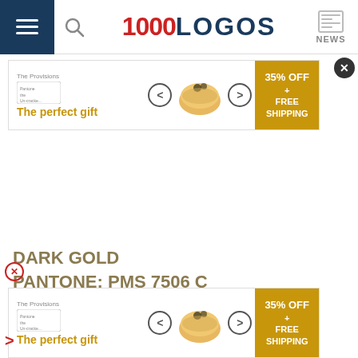1000LOGOS NEWS
[Figure (screenshot): Advertisement banner: 'The perfect gift' with food bowl image, 35% OFF + FREE SHIPPING gold button]
DARK GOLD
PANTONE: PMS 7506 C
HEX CODE: #A89968;
RGB: (168,153,104);
CMYK: (10,15,50,29)
[Figure (screenshot): Advertisement banner bottom: 'The perfect gift' with food bowl image, 35% OFF + FREE SHIPPING gold button]